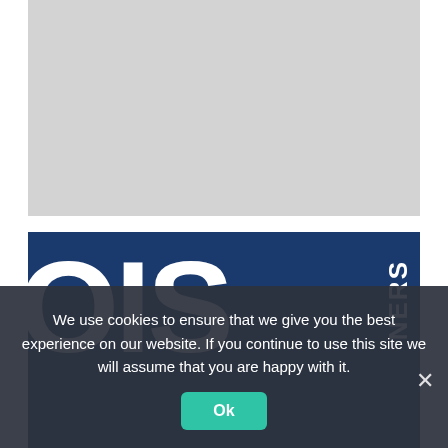[Figure (photo): Gray placeholder image area at the top of the page, representing a website screenshot with an unloaded or placeholder image.]
[Figure (photo): Blue banner with large white letters 'OIS' partially visible and the word 'NERS' displayed vertically on the right side, appearing to be part of a logo or site header with a dark blue industrial background.]
We use cookies to ensure that we give you the best experience on our website. If you continue to use this site we will assume that you are happy with it.
Ok